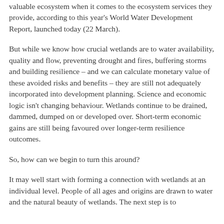valuable ecosystem when it comes to the ecosystem services they provide, according to this year's World Water Development Report, launched today (22 March).
But while we know how crucial wetlands are to water availability, quality and flow, preventing drought and fires, buffering storms and building resilience – and we can calculate monetary value of these avoided risks and benefits – they are still not adequately incorporated into development planning. Science and economic logic isn't changing behaviour. Wetlands continue to be drained, dammed, dumped on or developed over. Short-term economic gains are still being favoured over longer-term resilience outcomes.
So, how can we begin to turn this around?
It may well start with forming a connection with wetlands at an individual level. People of all ages and origins are drawn to water and the natural beauty of wetlands. The next step is to